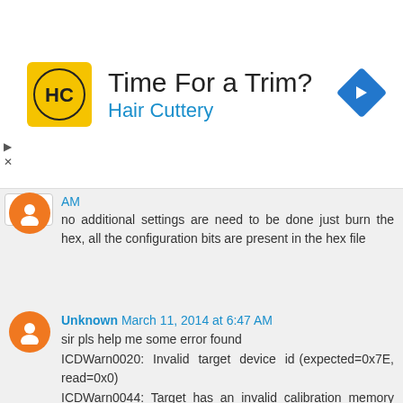[Figure (advertisement): Hair Cuttery ad banner with yellow HC logo, text 'Time For a Trim?' and 'Hair Cuttery' in blue, and a blue diamond navigation arrow icon on the right.]
AM
no additional settings are need to be done just burn the hex, all the configuration bits are present in the hex file
Unknown March 11, 2014 at 6:47 AM
sir pls help me some error found ICDWarn0020: Invalid target device id (expected=0x7E, read=0x0) ICDWarn0044: Target has an invalid calibration memory value (0x0). Continue? ...Reading ICD Product ID Running ICD Self Test ...Passed MPLAB ICD 2 ready for next operation